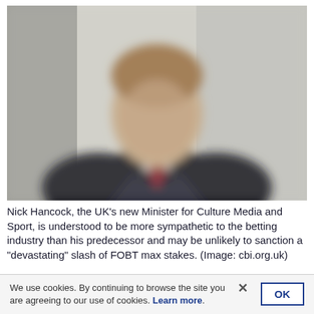[Figure (photo): Blurred/out-of-focus photo of a man in a dark suit with a red tie, photographed indoors against a light grey background. The subject's facial features are not clearly discernible due to image blur.]
Nick Hancock, the UK's new Minister for Culture Media and Sport, is understood to be more sympathetic to the betting industry than his predecessor and may be unlikely to sanction a "devastating" slash of FOBT max stakes. (Image: cbi.org.uk)
We use cookies. By continuing to browse the site you are agreeing to our use of cookies. Learn more.